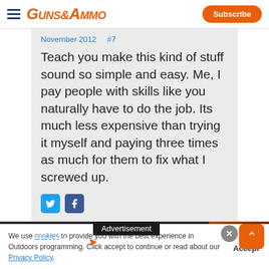GUNS&AMMO | Subscribe
November 2012   #7
Teach you make this kind of stuff sound so simple and easy. Me, I pay people with skills like you naturally have to do the job. Its much less expensive than trying it myself and paying three times as much for them to fix what I screwed up.
[Figure (other): Social share icons: Twitter (blue bird) and Facebook (blue f)]
[Figure (other): Advertisement bar with text 'Advertisement', followed by Federal ammunition ad showing NEW FEDERAL logo and partial text HIGHGRADE]
We use cookies to provide you with the best experience in Outdoors programming. Click accept to continue or read about our Privacy Policy.